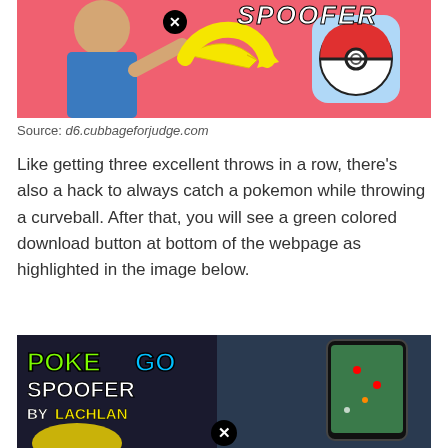[Figure (screenshot): Promotional image for a Pokemon GO Spoofer app, showing a man pointing at a Pokeball icon on a pink/red background with the word SPOOFER and a close button overlay.]
Source: d6.cubbageforjudge.com
Like getting three excellent throws in a row, there's also a hack to always catch a pokemon while throwing a curveball. After that, you will see a green colored download button at bottom of the webpage as highlighted in the image below.
[Figure (screenshot): Promotional image reading 'POKE GO SPOOFER BY LACHLAN' with a young man holding a phone showing Pokemon GO map, with a close button overlay and a Pikachu character in the corner.]